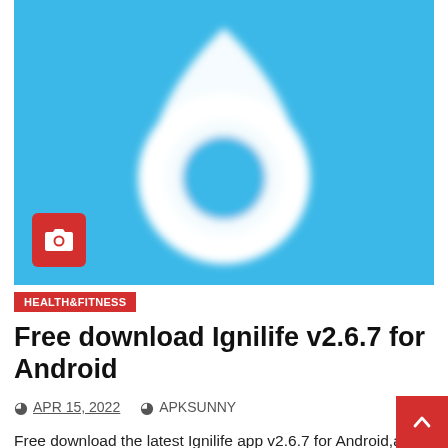[Figure (logo): Ignilife app logo on a light blue background — white teardrop/waterdrop shape with an inner circle outline forming the Ignilife icon. A red camera-icon badge is overlaid at the bottom-left of the image.]
HEALTH&FITNESS
Free download Ignilife v2.6.7 for Android
APR 15, 2022   APKSUNNY
Free download the latest Ignilife app v2.6.7 for Android,and we also provide Google play version.